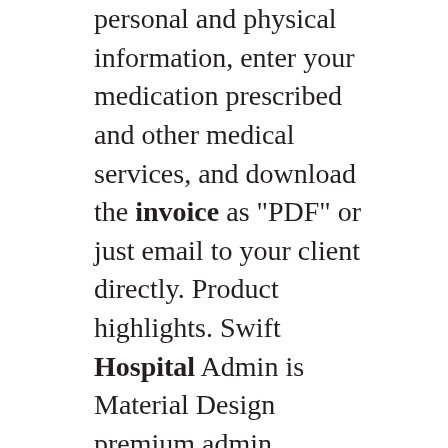personal and physical information, enter your medication prescribed and other medical services, and download the invoice as "PDF" or just email to your client directly. Product highlights. Swift Hospital Admin is Material Design premium admin dashboard theme for Healthcare and Medical industry. It is really appropriate template for Doctors, Dentists, Hospitals, Health clinics, Surgeons and medical organization. It is purpose oriented design, responsive layout with special features such as wonderful appointment. Bill September 03, 2018. We tried to find some amazing references about Fake Medical Bill Generator And Electronic Invoice Template for you. Here it is. It was coming from reputable online resource which we like it. We hope you can find what you need here. We always effort to reveal a picture with high resolution or with perfect